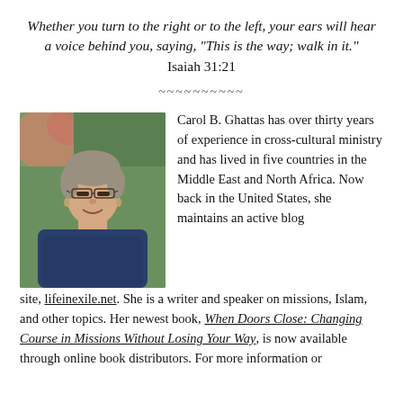Whether you turn to the right or to the left, your ears will hear a voice behind you, saying, "This is the way; walk in it." Isaiah 31:21
~~~~~~~~~~
[Figure (photo): Portrait photo of Carol B. Ghattas, a woman with short gray hair and glasses, wearing a dark blue patterned top, with foliage in the background.]
Carol B. Ghattas has over thirty years of experience in cross-cultural ministry and has lived in five countries in the Middle East and North Africa. Now back in the United States, she maintains an active blog site, lifeinexile.net. She is a writer and speaker on missions, Islam, and other topics. Her newest book, When Doors Close: Changing Course in Missions Without Losing Your Way, is now available through online book distributors. For more information or